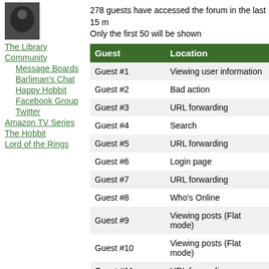The Library
Community
Message Boards
Barliman's Chat
Happy Hobbit
Facebook Group
Twitter
Amazon TV Series
The Hobbit
Lord of the Rings
278 guests have accessed the forum in the last 15 m. Only the first 50 will be shown
| Guest | Location |
| --- | --- |
| Guest #1 | Viewing user information |
| Guest #2 | Bad action |
| Guest #3 | URL forwarding |
| Guest #4 | Search |
| Guest #5 | URL forwarding |
| Guest #6 | Login page |
| Guest #7 | URL forwarding |
| Guest #8 | Who's Online |
| Guest #9 | Viewing posts (Flat mode) |
| Guest #10 | Viewing posts (Flat mode) |
| Guest #11 | URL forwarding |
| Guest #12 | Viewing user information |
| Guest #13 | Login page |
| Guest #14 | Login page |